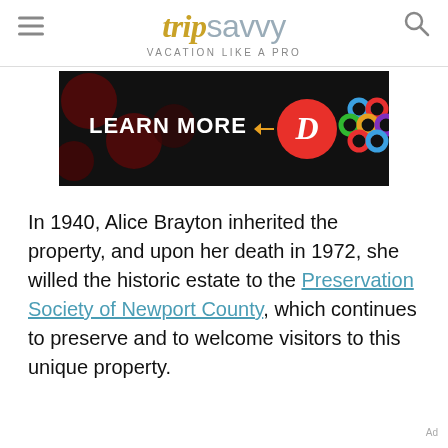tripsavvy VACATION LIKE A PRO
[Figure (other): Advertisement banner with black background showing 'LEARN MORE' text, a red circle with a stylized D logo, and a multicolored interlocking rings logo]
In 1940, Alice Brayton inherited the property, and upon her death in 1972, she willed the historic estate to the Preservation Society of Newport County, which continues to preserve and to welcome visitors to this unique property.
Ad